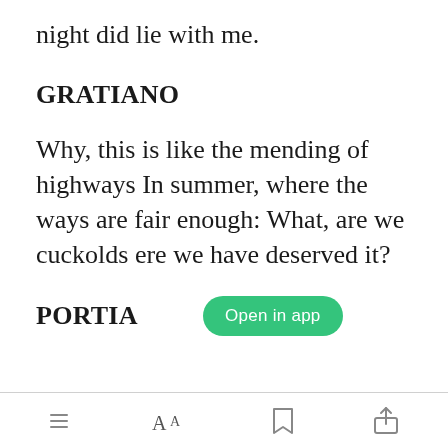night did lie with me.
GRATIANO
Why, this is like the mending of highways In summer, where the ways are fair enough: What, are we cuckolds ere we have deserved it?
PORTIA
Open in app | toolbar icons